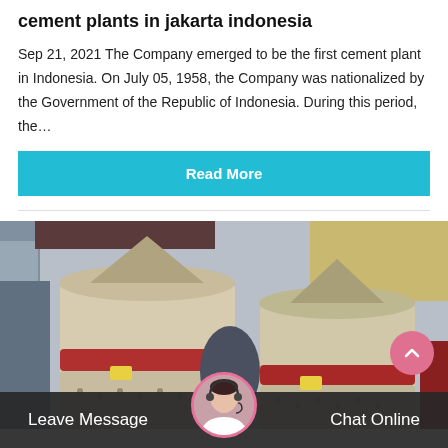cement plants in jakarta indonesia
Sep 21, 2021 The Company emerged to be the first cement plant in Indonesia. On July 05, 1958, the Company was nationalized by the Government of the Republic of Indonesia. During this period, the…
Read More
[Figure (photo): Industrial cement mill or ball mill machinery, large cylindrical cream-colored drums with red bands, photographed outdoors]
Leave Message
Chat Online